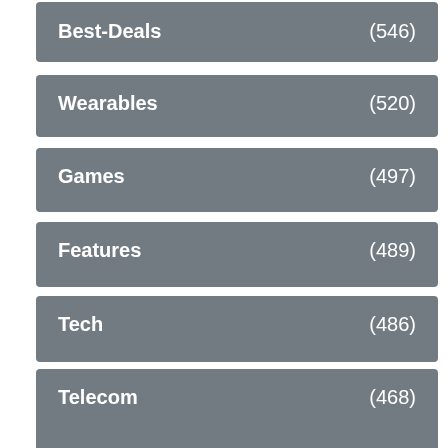Best-Deals (546)
Wearables (520)
Games (497)
Features (489)
Tech (486)
Features (481)
Telecom (468)
Apple (462)